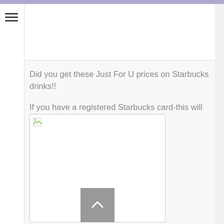☰
Did you get these Just For U prices on Starbucks drinks!!
If you have a registered Starbucks card-this will help you get your Rewards faster
[Figure (photo): Broken image placeholder with a small broken image icon in the top left corner, and a gray back-to-top button with a caret/arrow pointing upward at the bottom center]